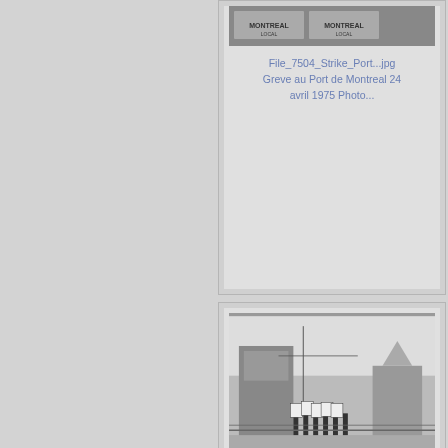[Figure (photo): Partial black and white photograph showing people with Montreal Local signs/placards at the Port of Montreal strike, 1975]
File_7504_Strike_Port...jpg
Greve au Port de Montreal 24 avril 1975 Photo...
[Figure (photo): Black and white photograph showing workers picketing at the Port of Montreal, with union signs/placards, buildings and a church in background, April 24 1975]
File_7504_Strike_Port...jpg
Greve au Port de Montreal 24 avril 1975 Photo...
[Figure (photo): Partial black and white photograph showing workers with signs picketing at the Port of Montreal, 1975]